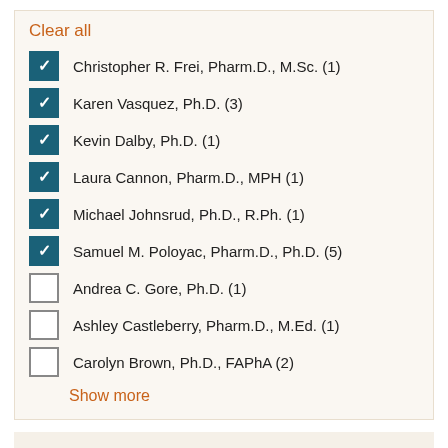Clear all
Christopher R. Frei, Pharm.D., M.Sc. (1) [checked]
Karen Vasquez, Ph.D. (3) [checked]
Kevin Dalby, Ph.D. (1) [checked]
Laura Cannon, Pharm.D., MPH (1) [checked]
Michael Johnsrud, Ph.D., R.Ph. (1) [checked]
Samuel M. Poloyac, Pharm.D., Ph.D. (5) [checked]
Andrea C. Gore, Ph.D. (1) [unchecked]
Ashley Castleberry, Pharm.D., M.Ed. (1) [unchecked]
Carolyn Brown, Ph.D., FAPhA (2) [unchecked]
Show more
Filter by news tag